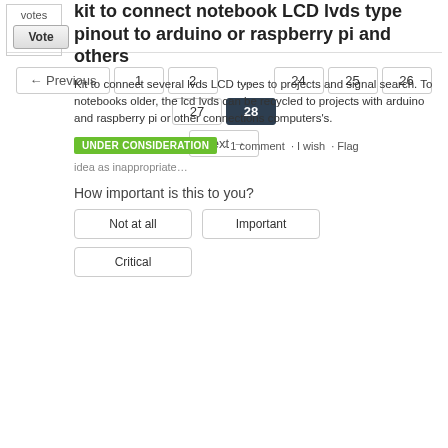votes
Vote
kit to connect notebook LCD lvds type pinout to arduino or raspberry pi and others
Kit to connect several lvds LCD types to projects and signal search. To notebooks older, the lcd lvds can be recycled to projects with arduino and raspberry pi or other connections computers's.
UNDER CONSIDERATION · 1 comment · I wish · Flag idea as inappropriate…
How important is this to you?
Not at all
Important
Critical
← Previous  1  2  …  24  25  26  27  28  Next →